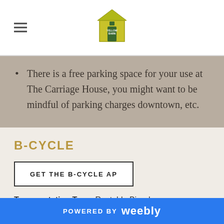[Figure (logo): Yellow Barn logo - barn shape icon in yellow/green with hamburger menu to the left]
There is a free parking space for your use at The Carriage House, you might want to be mindful of parking charges downtown, etc.
B-CYCLE
[Figure (other): Button: GET THE B-CYCLE AP]
Transportation Type: Rentable Bicycles
Tips & Tricks:
POWERED BY weebly